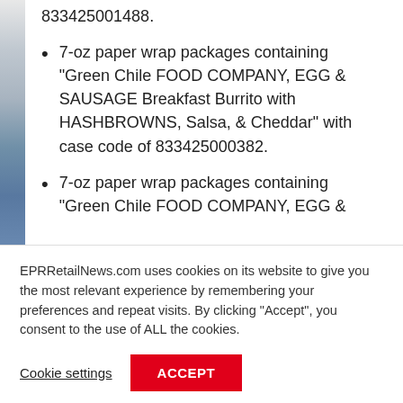833425001488.
7-oz paper wrap packages containing “Green Chile FOOD COMPANY, EGG & SAUSAGE Breakfast Burrito with HASHBROWNS, Salsa, & Cheddar” with case code of 833425000382.
7-oz paper wrap packages containing “Green Chile FOOD COMPANY, EGG &
EPRRetailNews.com uses cookies on its website to give you the most relevant experience by remembering your preferences and repeat visits. By clicking “Accept”, you consent to the use of ALL the cookies.
Cookie settings
ACCEPT